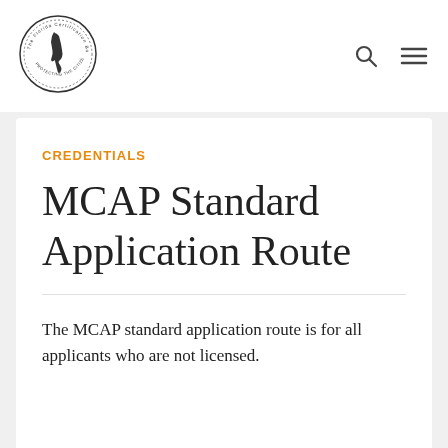[Figure (logo): Florida Certification Board circular logo with state of Florida outline and text around the border]
CREDENTIALS
MCAP Standard Application Route
The MCAP standard application route is for all applicants who are not licensed.